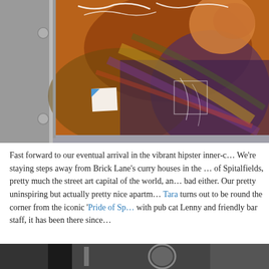[Figure (photo): Street art / graffiti mural visible through a metal-framed window or door panel. The mural depicts a colorful, expressive figure with orange, purple, yellow and dark tones. Graffiti tags and a torn sticker are visible on the glass. The door frame is gray metal.]
Fast forward to our eventual arrival in the vibrant hipster inner-c… We're staying steps away from Brick Lane's curry houses in the … of Spitalfields, pretty much the street art capital of the world, an… bad either. Our pretty uninspiring but actually pretty nice apartm… Tara turns out to be round the corner from the iconic 'Pride of Sp… with pub cat Lenny and friendly bar staff, it has been there since…
[Figure (photo): Partial view of a street scene or shop interior, cropped at bottom of page.]